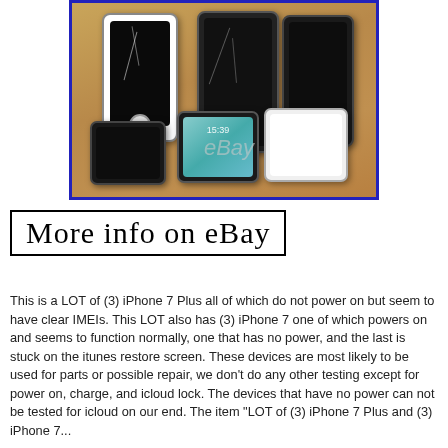[Figure (photo): Photo of 6 iPhones (3 iPhone 7 Plus and 3 iPhone 7) laid on a wood surface, some with cracked screens, some powered off. Photo has a blue border and eBay watermark.]
More info on eBay
This is a LOT of (3) iPhone 7 Plus all of which do not power on but seem to have clear IMEIs. This LOT also has (3) iPhone 7 one of which powers on and seems to function normally, one that has no power, and the last is stuck on the itunes restore screen. These devices are most likely to be used for parts or possible repair, we don’t do any other testing except for power on, charge, and icloud lock. The devices that have no power can not be tested for icloud on our end. The item “LOT of (3) iPhone 7 Plus and (3) iPhone 7...